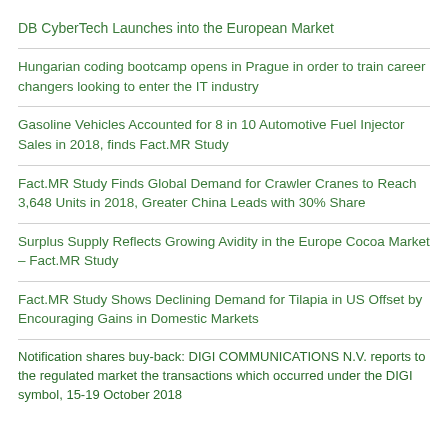DB CyberTech Launches into the European Market
Hungarian coding bootcamp opens in Prague in order to train career changers looking to enter the IT industry
Gasoline Vehicles Accounted for 8 in 10 Automotive Fuel Injector Sales in 2018, finds Fact.MR Study
Fact.MR Study Finds Global Demand for Crawler Cranes to Reach 3,648 Units in 2018, Greater China Leads with 30% Share
Surplus Supply Reflects Growing Avidity in the Europe Cocoa Market – Fact.MR Study
Fact.MR Study Shows Declining Demand for Tilapia in US Offset by Encouraging Gains in Domestic Markets
Notification shares buy-back: DIGI COMMUNICATIONS N.V. reports to the regulated market the transactions which occurred under the DIGI symbol, 15-19 October 2018